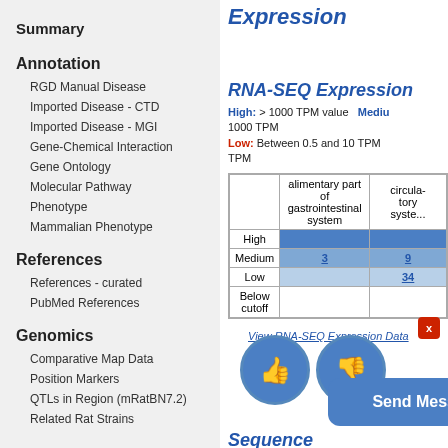Expression
Summary
Annotation
RGD Manual Disease
Imported Disease - CTD
Imported Disease - MGI
Gene-Chemical Interaction
Gene Ontology
Molecular Pathway
Phenotype
Mammalian Phenotype
References
References - curated
PubMed References
Genomics
Comparative Map Data
Position Markers
QTLs in Region (mRatBN7.2)
Related Rat Strains
RNA-SEQ Expression
High: > 1000 TPM value  Medium: Between 10 and 1000 TPM  Low: Between 0.5 and 10 TPM  Below cutoff: < 0.5 TPM
|  | alimentary part of gastrointestinal system | circulatory system |
| --- | --- | --- |
| High |  |  |
| Medium | 3 | 9 |
| Low |  | 34 |
| Below cutoff |  |  |
View RNA-SEQ Expression Data
Sequence